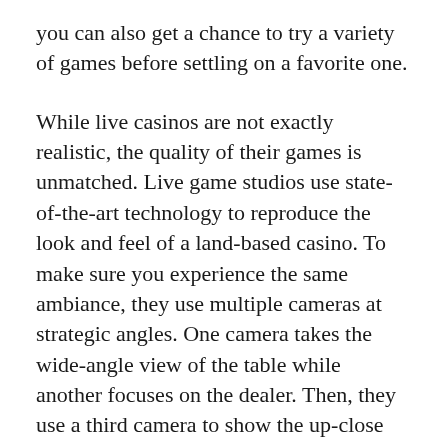you can also get a chance to try a variety of games before settling on a favorite one.
While live casinos are not exactly realistic, the quality of their games is unmatched. Live game studios use state-of-the-art technology to reproduce the look and feel of a land-based casino. To make sure you experience the same ambiance, they use multiple cameras at strategic angles. One camera takes the wide-angle view of the table while another focuses on the dealer. Then, they use a third camera to show the up-close table play.
Live casinos typically have at least three rooms. The first is called the studio, and the second is the analysis room. A computer system called the Game Control